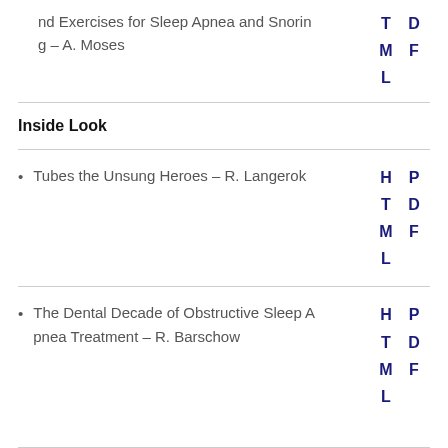nd Exercises for Sleep Apnea and Snoring – A. Moses T D M F L
Inside Look
Tubes the Unsung Heroes – R. Langerok H P T D M F L
The Dental Decade of Obstructive Sleep Apnea Treatment – R. Barschow H P T D M F L